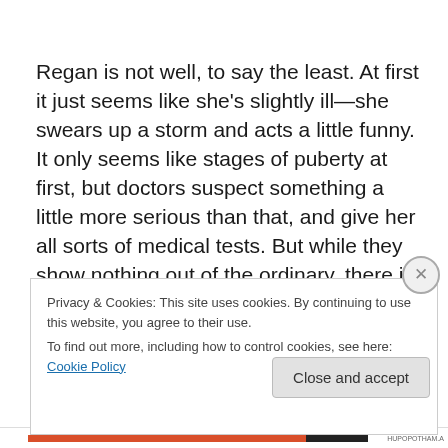Regan is not well, to say the least. At first it just seems like she's slightly ill—she swears up a storm and acts a little funny. It only seems like stages of puberty at first, but doctors suspect something a little more serious than that, and give her all sorts of medical tests. But while they show nothing out of the ordinary, there is definitely something wrong not only with her, but around her. Her bed is
Privacy & Cookies: This site uses cookies. By continuing to use this website, you agree to their use.
To find out more, including how to control cookies, see here: Cookie Policy